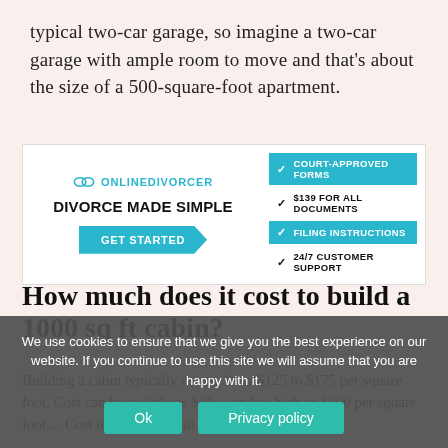typical two-car garage, so imagine a two-car garage with ample room to move and that's about the size of a 500-square-foot apartment.
[Figure (infographic): Advertisement for OnlineDivorcer.com - 'Divorce Made Simple' with GET STARTED button and checklist: Court-Approved Forms, $139 For All Documents, Filing Instructions, 24/7 Customer Support]
How much does it cost to build a 1000 sq ft cabin?
Building a cabin typically ranges from $125 to $175 per square foot. Cost can be as little as $21 ... and as high as $300 per square foot ... Cost to Build a Cabin Per Square Foot.
We use cookies to ensure that we give you the best experience on our website. If you continue to use this site we will assume that you are happy with it.